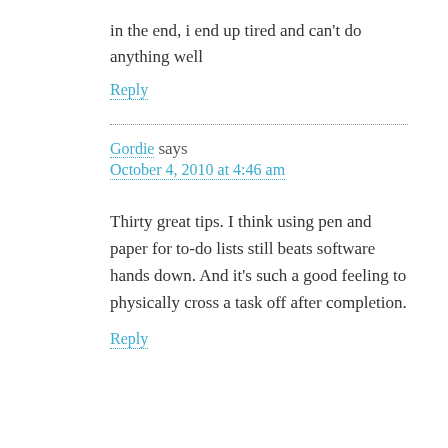in the end, i end up tired and can't do anything well
Reply
Gordie says
October 4, 2010 at 4:46 am
Thirty great tips. I think using pen and paper for to-do lists still beats software hands down. And it's such a good feeling to physically cross a task off after completion.
Reply